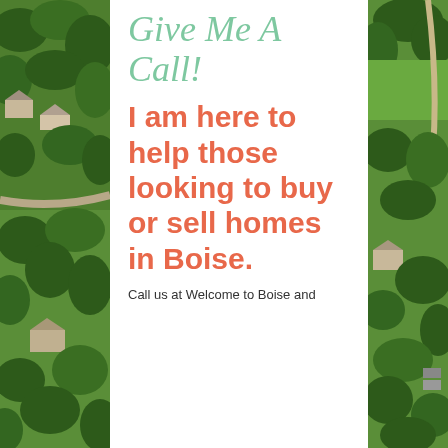[Figure (photo): Aerial view of a residential neighborhood with green lawns, trees, and houses — shown as left and right side strips flanking the white content area]
Give Me A Call!
I am here to help those looking to buy or sell homes in Boise.
Call us at Welcome to Boise and